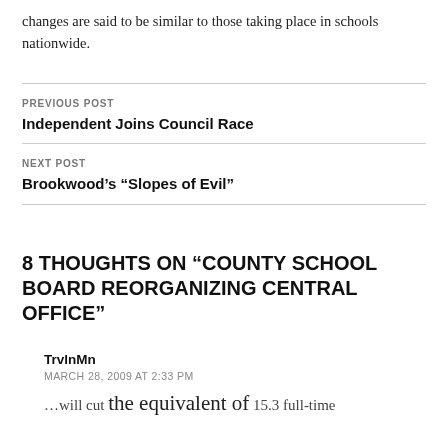changes are said to be similar to those taking place in schools nationwide.
PREVIOUS POST
Independent Joins Council Race
NEXT POST
Brookwood’s “Slopes of Evil”
8 THOUGHTS ON “COUNTY SCHOOL BOARD REORGANIZING CENTRAL OFFICE”
TrvlnMn
MARCH 28, 2009 AT 2:33 PM
…will cut the equivalent of 15.3 full-time